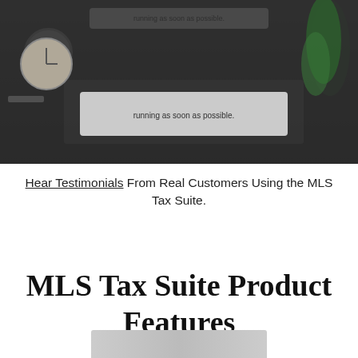[Figure (photo): Screenshot/photo showing a computer monitor with a dialog box containing text 'running as soon as possible.' with a clock and plant visible in the background on a dark desk setting.]
Hear Testimonials From Real Customers Using the MLS Tax Suite.
MLS Tax Suite Product Features
[Figure (photo): Partial image visible at the bottom of the page, appears to be another screenshot or product image.]